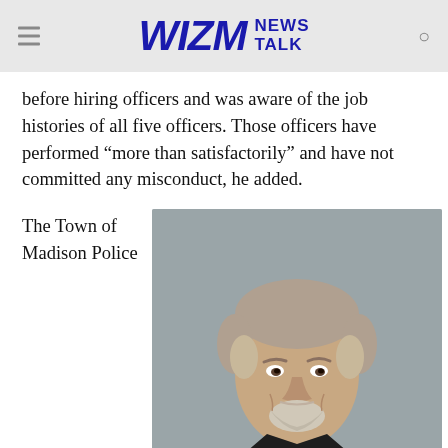WIZM NEWS TALK
before hiring officers and was aware of the job histories of all five officers. Those officers have performed “more than satisfactorily” and have not committed any misconduct, he added.
The Town of Madison Police
[Figure (photo): Headshot of a middle-aged male police chief with short graying hair and a goatee beard, wearing a dark police uniform with gold badge and gold stars on the collar, photographed against a gray background.]